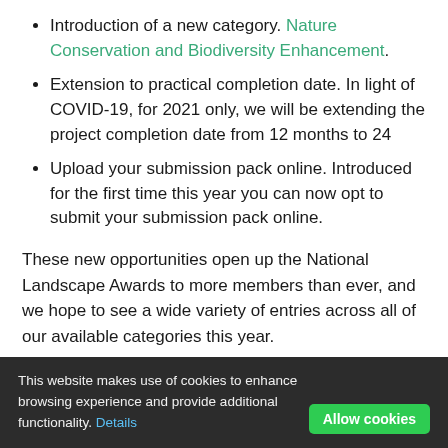Introduction of a new category. Nature Conservation and Biodiversity Enhancement.
Extension to practical completion date. In light of COVID-19, for 2021 only, we will be extending the project completion date from 12 months to 24
Upload your submission pack online. Introduced for the first time this year you can now opt to submit your submission pack online.
These new opportunities open up the National Landscape Awards to more members than ever, and we hope to see a wide variety of entries across all of our available categories this year.
To assist members with the entry process Chair of the
opportunity for those interested in entering
This website makes use of cookies to enhance browsing experience and provide additional functionality. Details   Allow cookies